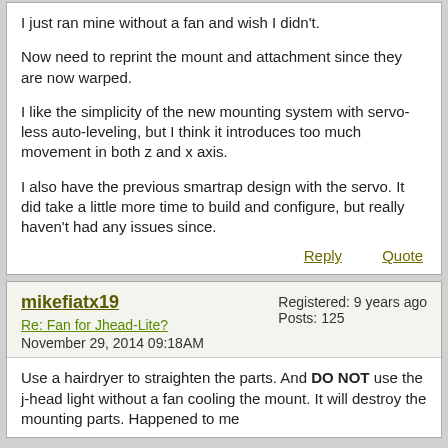I just ran mine without a fan and wish I didn't.

Now need to reprint the mount and attachment since they are now warped.

I like the simplicity of the new mounting system with servo-less auto-leveling, but I think it introduces too much movement in both z and x axis.

I also have the previous smartrap design with the servo. It did take a little more time to build and configure, but really haven't had any issues since.
Reply   Quote
mikefiatx19
Re: Fan for Jhead-Lite?
November 29, 2014 09:18AM
Registered: 9 years ago
Posts: 125
Use a hairdryer to straighten the parts. And DO NOT use the j-head light without a fan cooling the mount. It will destroy the mounting parts. Happened to me